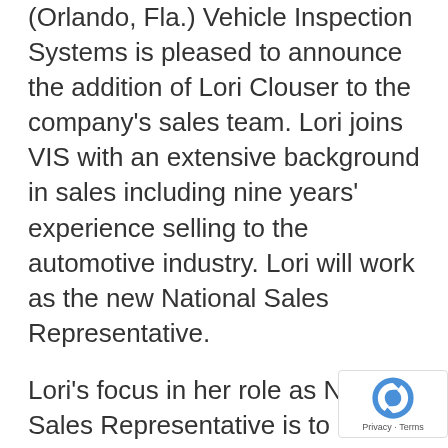(Orlando, Fla.) Vehicle Inspection Systems is pleased to announce the addition of Lori Clouser to the company's sales team. Lori joins VIS with an extensive background in sales including nine years' experience selling to the automotive industry. Lori will work as the new National Sales Representative.
Lori's focus in her role as National Sales Representative is to continue to enhance the company growth through proactive sales and account management. “I am very excited to be a part of the Vehicle Inspection Systems team; I look forward to expanding new horizons in the company sales structure and use my